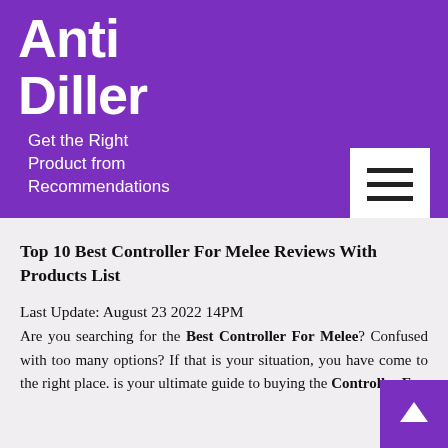Anti Diller
Get the Right Product from Recommendations
Top 10 Best Controller For Melee Reviews With Products List
Last Update: August 23 2022 14PM
Are you searching for the Best Controller For Melee? Confused with too many options? If that is your situation, you have come to the right place. is your ultimate guide to buying the Controller For